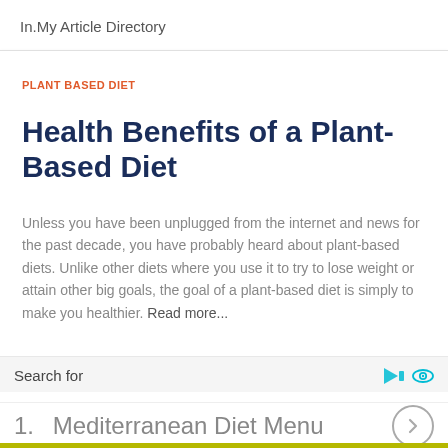In.My Article Directory
PLANT BASED DIET
Health Benefits of a Plant-Based Diet
Unless you have been unplugged from the internet and news for the past decade, you have probably heard about plant-based diets. Unlike other diets where you use it to try to lose weight or attain other big goals, the goal of a plant-based diet is simply to make you healthier. Read more...
Search for
1.  Mediterranean Diet Menu